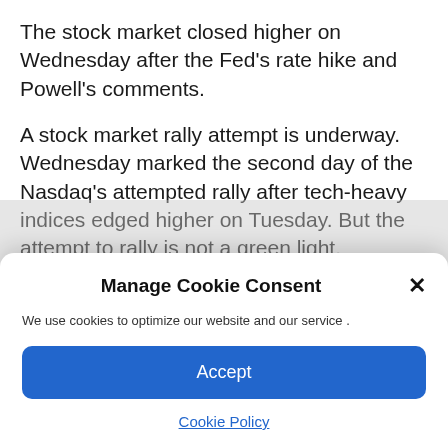The stock market closed higher on Wednesday after the Fed's rate hike and Powell's comments.
A stock market rally attempt is underway. Wednesday marked the second day of the Nasdaq's attempted rally after tech-heavy indices edged higher on Tuesday. But the attempt to rally is not a green light.
Manage Cookie Consent
We use cookies to optimize our website and our service .
Accept
Cookie Policy